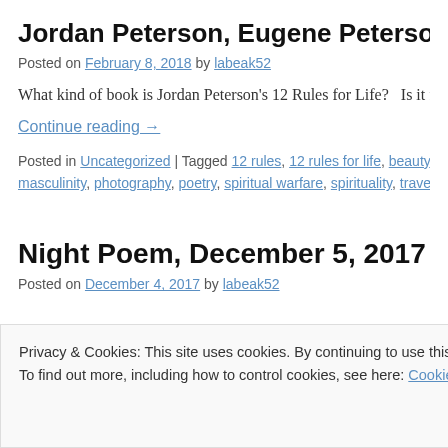Jordan Peterson, Eugene Peterson and T
Posted on February 8, 2018 by labeak52
What kind of book is Jordan Peterson's 12 Rules for Life?   Is it faith?  Does it prescribe self-reliance or does it point to Christ a
Continue reading →
Posted in Uncategorized | Tagged 12 rules, 12 rules for life, beauty, bible, bib masculinity, photography, poetry, spiritual warfare, spirituality, travel, writing |
Night Poem, December 5, 2017
Posted on December 4, 2017 by labeak52
Privacy & Cookies: This site uses cookies. By continuing to use this website, you agree to their use.
To find out more, including how to control cookies, see here: Cookie Policy
Close and accept